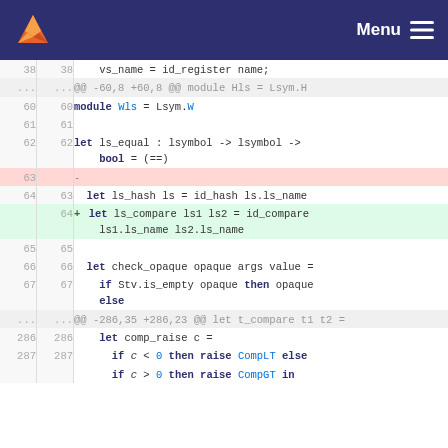Menu
[Figure (screenshot): GitLab diff view showing code changes to an OCaml source file. Lines include module definitions, let bindings for ls_equal, ls_hash, ls_compare, check_opaque, and comp_raise. Line 63 is removed (red), line 64 is added (green) with ls_compare function. Hunk headers show @@ -60,8 +60,8 @@ module Hls = Lsym.H and @@ -286,35 +286,23 @@ let t_compare t1 t2 =]